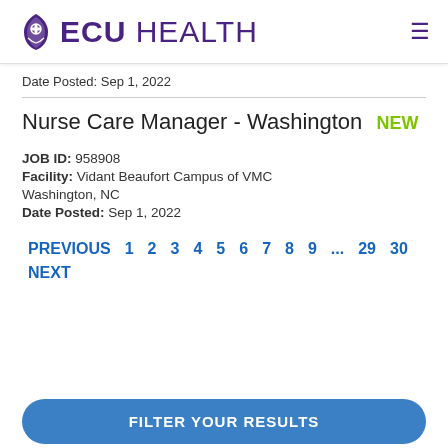ECU HEALTH
Date Posted: Sep 1, 2022
Nurse Care Manager - Washington NEW
JOB ID: 958908
Facility: Vidant Beaufort Campus of VMC
Washington, NC
Date Posted: Sep 1, 2022
PREVIOUS 1 2 3 4 5 6 7 8 9 ... 29 30 NEXT
FILTER YOUR RESULTS